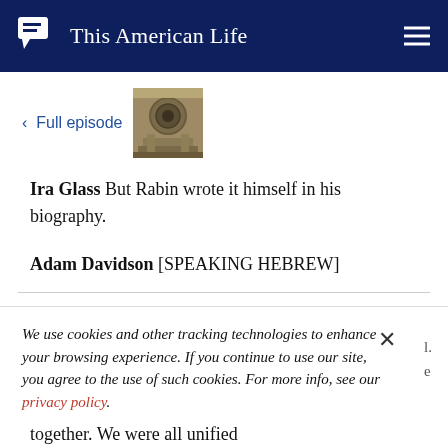This American Life
< Full episode
[Figure (photo): Thumbnail image of a stone architectural detail, appears to be a Roman or classical building facade with a circular window]
Ira Glass But Rabin wrote it himself in his biography.
Adam Davidson [SPEAKING HEBREW]
We use cookies and other tracking technologies to enhance your browsing experience. If you continue to use our site, you agree to the use of such cookies. For more info, see our privacy policy.
together. We were all unified